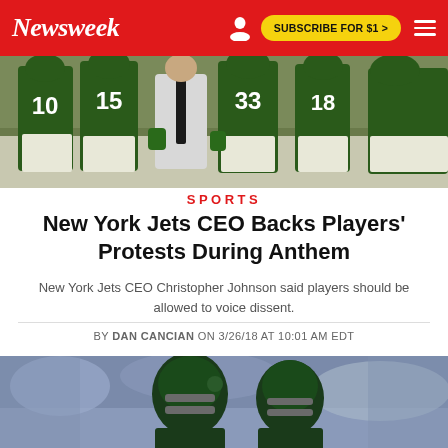Newsweek | SUBSCRIBE FOR $1 >
[Figure (photo): New York Jets players in green uniforms with numbers 10, 15, 33, 18, standing together on the field with a coach in a white shirt and tie]
SPORTS
New York Jets CEO Backs Players' Protests During Anthem
New York Jets CEO Christopher Johnson said players should be allowed to voice dissent.
BY DAN CANCIAN ON 3/26/18 AT 10:01 AM EDT
[Figure (photo): Philadelphia Eagles players in dark green helmets and uniforms on the field]